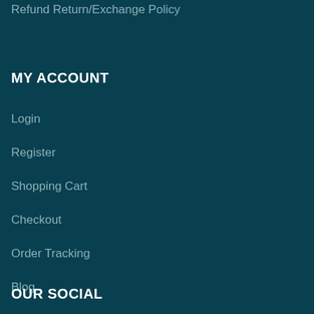Refund Return/Exchange Policy
MY ACCOUNT
Login
Register
Shopping Cart
Checkout
Order Tracking
Blog
OUR SOCIAL